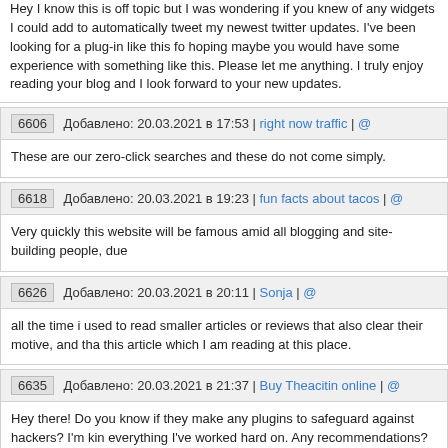Hey I know this is off topic but I was wondering if you knew of any widgets I could add to automatically tweet my newest twitter updates. I've been looking for a plug-in like this fo hoping maybe you would have some experience with something like this. Please let me anything. I truly enjoy reading your blog and I look forward to your new updates.
6606  Добавлено: 20.03.2021 в 17:53 | right now traffic | @
These are our zero-click searches and these do not come simply.
6618  Добавлено: 20.03.2021 в 19:23 | fun facts about tacos | @
Very quickly this website will be famous amid all blogging and site-building people, due
6626  Добавлено: 20.03.2021 в 20:11 | Sonja | @
all the time i used to read smaller articles or reviews that also clear their motive, and tha this article which I am reading at this place.
6635  Добавлено: 20.03.2021 в 21:37 | Buy Theacitin online | @
Hey there! Do you know if they make any plugins to safeguard against hackers? I'm kin everything I've worked hard on. Any recommendations?
6638  Добавлено: 20.03.2021 в 22:01 | https://martaverde.net/women-maker-day/ | @
I do accept as true with all of the concepts you've introduced in your post. They're very definitely work. Nonetheless, the posts are too quick for newbies. Could you please le